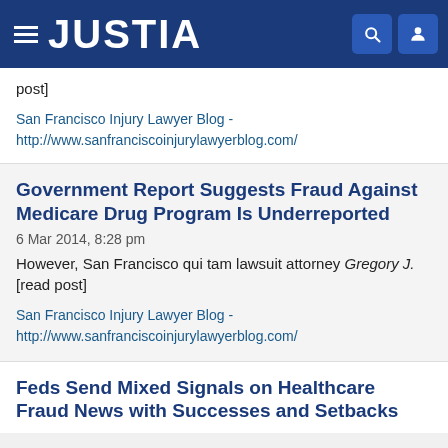JUSTIA
post]
San Francisco Injury Lawyer Blog - http://www.sanfranciscoinjurylawyerblog.com/
Government Report Suggests Fraud Against Medicare Drug Program Is Underreported
6 Mar 2014, 8:28 pm
However, San Francisco qui tam lawsuit attorney Gregory J. [read post]
San Francisco Injury Lawyer Blog - http://www.sanfranciscoinjurylawyerblog.com/
Feds Send Mixed Signals on Healthcare Fraud News with Successes and Setbacks